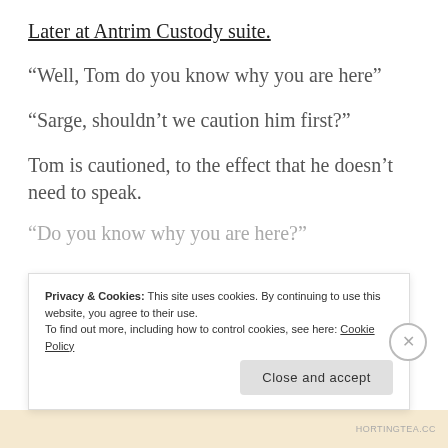Later at Antrim Custody suite.
“Well, Tom do you know why you are here”
“Sarge, shouldn’t we caution him first?”
Tom is cautioned, to the effect that he doesn’t need to speak.
“Do you know why you are here?”
Privacy & Cookies: This site uses cookies. By continuing to use this website, you agree to their use. To find out more, including how to control cookies, see here: Cookie Policy
HORTINGTEA.cc